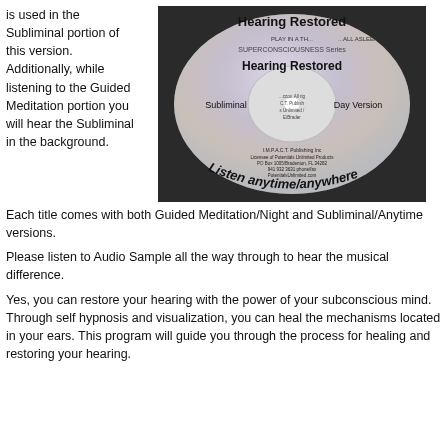is used in the Subliminal portion of this version. Additionally, while listening to the Guided Meditation portion you will hear the Subliminal in the background.
[Figure (photo): Photo of a CD labeled 'Hearing Restored' from the Superconsciousness Series by I.M.P.A.C.T. Publishing Inc., Licensee of Potentials Unlimited Products. The CD shows 'Subliminal' on the left and 'Day Version' on the right. Text around the bottom reads 'Listen anytime/anywhere'.]
Each title comes with both Guided Meditation/Night and Subliminal/Anytime versions.
Please listen to Audio Sample all the way through to hear the musical difference.
Yes, you can restore your hearing with the power of your subconscious mind. Through self hypnosis and visualization, you can heal the mechanisms located in your ears. This program will guide you through the process for healing and restoring your hearing.